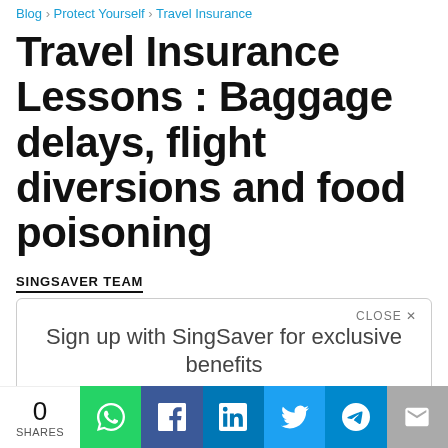Blog > Protect Yourself > Travel Insurance
Travel Insurance Lessons : Baggage delays, flight diversions and food poisoning
SINGSAVER TEAM
CLOSE X
Sign up with SingSaver for exclusive benefits
Learn More
Sign In / Sign Up
[Figure (photo): Partial image of outdoor scene visible at bottom]
0 SHARES